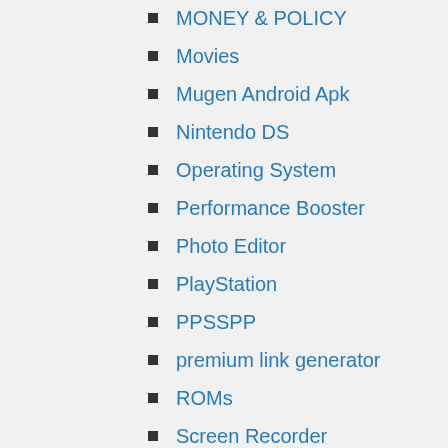MONEY & POLICY
Movies
Mugen Android Apk
Nintendo DS
Operating System
Performance Booster
Photo Editor
PlayStation
PPSSPP
premium link generator
ROMs
Screen Recorder
Streams
Tools
Torrent Client
Tricks